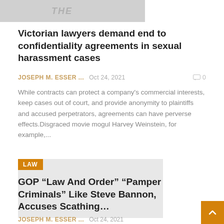[Figure (photo): Partially visible newspaper/publication header image with text, greyed out]
Victorian lawyers demand end to confidentiality agreements in sexual harassment cases
JOSEPH M. ESSER ...   Oct 24, 2021   0
While contracts can protect a company's commercial interests, keep cases out of court, and provide anonymity to plaintiffs and accused perpetrators, agreements can have perverse effects.Disgraced movie mogul Harvey Weinstein, for example,...
[Figure (photo): Grey placeholder image with LAW badge in orange]
GOP “Law And Order” “Pamper Criminals” Like Steve Bannon, Accuses Scathing…
JOSEPH M. ESSER ...   Oct 24, 2021